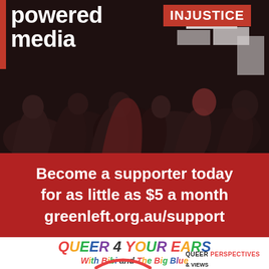[Figure (photo): Black and white photo of protest crowd with signs including 'INJUSTICE' and 'BLACK LIVES MATTER', overlaid with bold white text reading 'powered media' and a red vertical bar on the left.]
Become a supporter today for as little as $5 a month greenleft.org.au/support
[Figure (logo): Queer 4 Your Ears with Bibi and The Big Blue logo with multicolored text and a circular red arc graphic, plus text 'QUEER PERSPECTIVES & VIEWS']